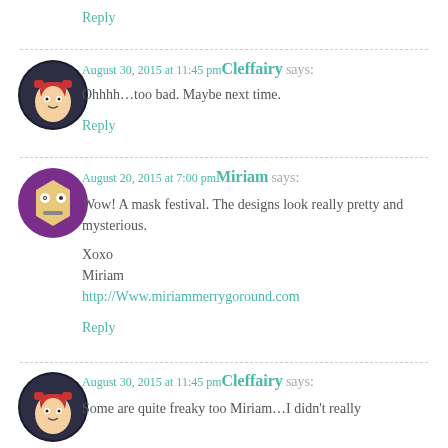Reply
August 30, 2015 at 11:45 pm Cleffairy says:
Ohhhh…too bad. Maybe next time.
Reply
August 20, 2015 at 7:00 pm Miriam says:
Wow! A mask festival. The designs look really pretty and mysterious.

Xoxo
Miriam
http://Www.miriammerrygoround.com
Reply
August 30, 2015 at 11:45 pm Cleffairy says:
Some are quite freaky too Miriam…I didn't really